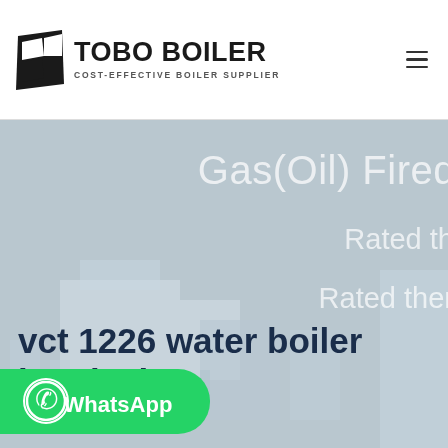[Figure (logo): Tobo Boiler logo with black geometric icon and bold text 'TOBO BOILER' with subtitle 'COST-EFFECTIVE BOILER SUPPLIER']
Gas(Oil) Fired
Rated th
Rated ther
vct 1226 water boiler
hemical
[Figure (illustration): WhatsApp contact button with green background, WhatsApp phone icon, and 'WhatsApp' label text]